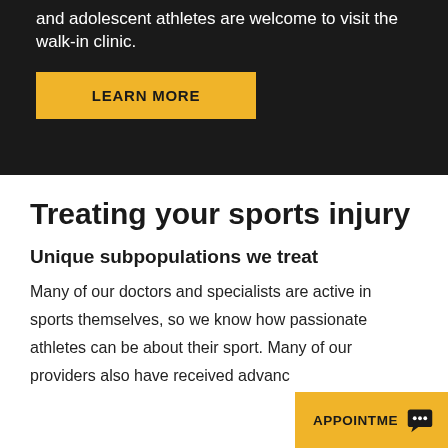and adolescent athletes are welcome to visit the walk-in clinic.
LEARN MORE
Treating your sports injury
Unique subpopulations we treat
Many of our doctors and specialists are active in sports themselves, so we know how passionate athletes can be about their sport. Many of our providers also have received advanc
APPOINTME